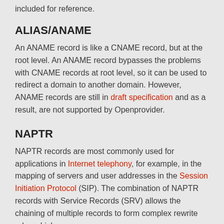included for reference.
ALIAS/ANAME
An ANAME record is like a CNAME record, but at the root level. An ANAME record bypasses the problems with CNAME records at root level, so it can be used to redirect a domain to another domain. However, ANAME records are still in draft specification and as a result, are not supported by Openprovider.
NAPTR
NAPTR records are most commonly used for applications in Internet telephony, for example, in the mapping of servers and user addresses in the Session Initiation Protocol (SIP). The combination of NAPTR records with Service Records (SRV) allows the chaining of multiple records to form complex rewrite rules which